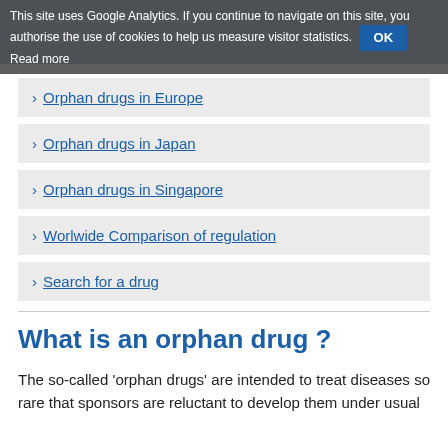This site uses Google Analytics. If you continue to navigate on this site, you authorise the use of cookies to help us measure visitor statistics. OK Read more
Orphan drugs in Europe
Orphan drugs in Japan
Orphan drugs in Singapore
Worlwide Comparison of regulation
Search for a drug
What is an orphan drug ?
The so-called 'orphan drugs' are intended to treat diseases so rare that sponsors are reluctant to develop them under usual